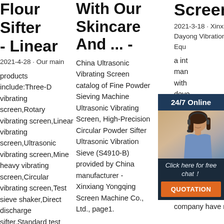Flour Sifter - Linear
2021-4-28 · Our main products include:Three-D vibrating screen,Rotary vibrating screen,Linear vibrating screen,Ultrasonic vibrating screen,Mine heavy vibrating screen,Circular vibrating screen,Test sieve shaker,Direct discharge sifter,Standard test sieve,Airflow sieving...
With Our Skincare And ... -
China Ultrasonic Vibrating Screen catalog of Fine Powder Sieving Machine Ultrasonic Vibrating Screen, High-Precision Circular Powder Sifter Ultrasonic Vibration Sieve (S4910-B) provided by China manufacturer - Xinxiang Yongqing Screen Machine Co., Ltd., page1.
Screening
2021-3-18 · Xinxiang Dayong Vibration Equipment is a integrated manufacturer with development, processing, service, complete customer, reasonable and efficient screening, conveying and crushing equipment design solutions. ◆The company have more